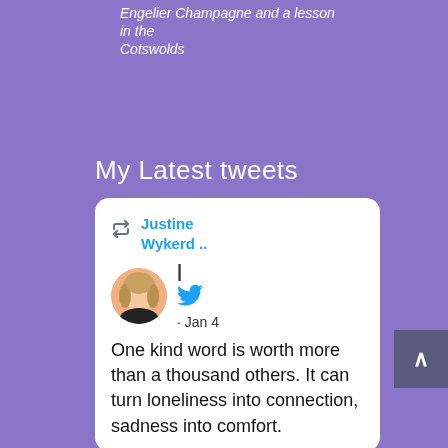Engelier Champagne and a lesson in the Cotswolds
My Latest tweets
[Figure (screenshot): A Twitter/social media embed card showing a retweet by Justine Wykerd with a profile avatar photo, Twitter bird icon, and date Jan 4. The tweet text reads: One kind word is worth more than a thousand others. It can turn loneliness into connection, sadness into comfort.]
[Figure (other): A back-to-top button (dark grey/blue rectangle with a white upward caret arrow) positioned at the right edge of the page.]